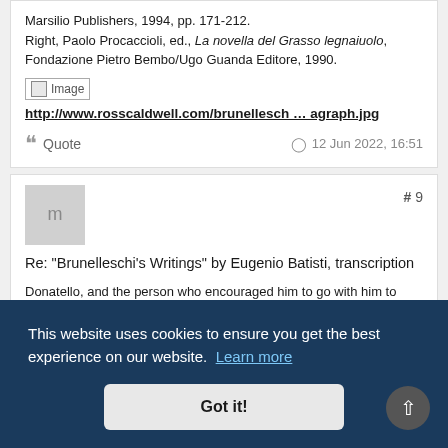Marsilio Publishers, 1994, pp. 171-212.
Right, Paolo Procaccioli, ed., La novella del Grasso legnaiuolo, Fondazione Pietro Bembo/Ugo Guanda Editore, 1990.
[Figure (other): Broken image placeholder icon]
http://www.rosscaldwell.com/brunellesch … agraph.jpg
Quote   12 Jun 2022, 16:51
[Figure (other): User avatar placeholder showing letter m]
Re: "Brunelleschi's Writings" by Eugenio Batisti, transcription
# 9
Donatello, and the person who encouraged him to go with him to
This website uses cookies to ensure you get the best experience on our website. Learn more
Got it!